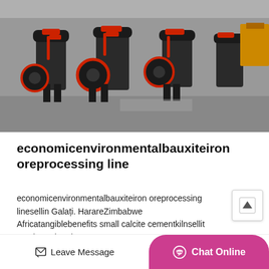[Figure (photo): Industrial cone crusher machines lined up in a factory or warehouse. The machines are dark grey/black with red accents on the hydraulic components and wheels.]
economicenvironmentalbauxiteiron oreprocessing line
economicenvironmentalbauxiteiron oreprocessing linesellin Galați. HarareZimbabwe Africatangiblebenefits small calcite cementkilnsellit at a bargain price,HARA
MORE DETAILS